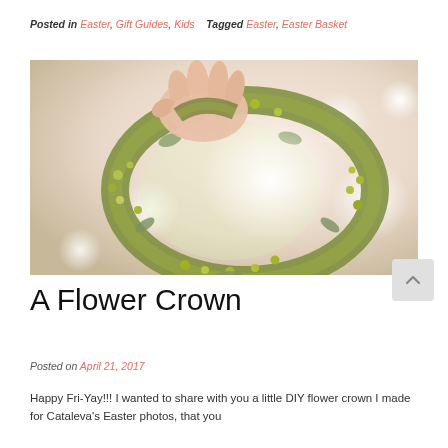Posted in Easter, Gift Guides, Kids   Tagged Easter, Easter Basket
[Figure (photo): Hands holding a green flower crown made of yellow-green small flowers and eucalyptus leaves, with a soft bokeh background of peach and white tones.]
A Flower Crown
Posted on April 21, 2017
Happy Fri-Yay!!! I wanted to share with you a little DIY flower crown I made for Cataleva's Easter photos, that you